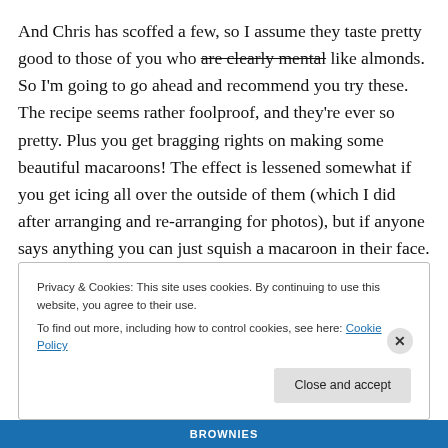And Chris has scoffed a few, so I assume they taste pretty good to those of you who are clearly mental like almonds. So I'm going to go ahead and recommend you try these. The recipe seems rather foolproof, and they're ever so pretty. Plus you get bragging rights on making some beautiful macaroons! The effect is lessened somewhat if you get icing all over the outside of them (which I did after arranging and re-arranging for photos), but if anyone says anything you can just squish a macaroon in their face.
Privacy & Cookies: This site uses cookies. By continuing to use this website, you agree to their use.
To find out more, including how to control cookies, see here: Cookie Policy